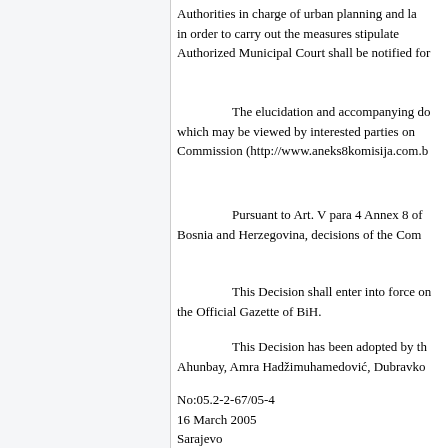Authorities in charge of urban planning and land cadastre in order to carry out the measures stipulated. Authorized Municipal Court shall be notified for
The elucidation and accompanying documents, which may be viewed by interested parties on the Commission (http://www.aneks8komisija.com.b
Pursuant to Art. V para 4 Annex 8 of Bosnia and Herzegovina, decisions of the Com
This Decision shall enter into force on the Official Gazette of BiH.
This Decision has been adopted by the Ahunbay, Amra Hadžimuhamedović, Dubravko
No:05.2-2-67/05-4
16 March 2005
Sarajevo